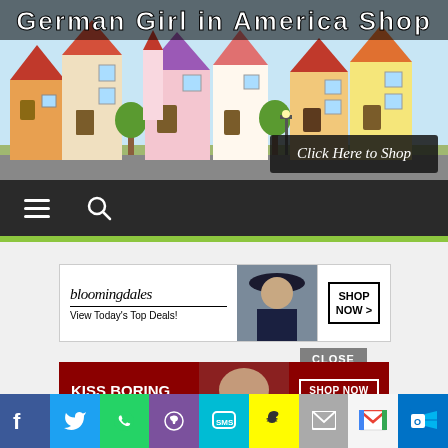[Figure (illustration): Cartoon German village town illustration header banner with colorful houses and 'German Girl in America Shop' title text and 'Click Here to Shop' button]
[Figure (screenshot): Navigation bar with hamburger menu icon and search icon on dark background]
[Figure (screenshot): Bloomingdales advertisement banner: 'bloomingdales View Today's Top Deals! SHOP NOW >']
[Figure (screenshot): Macy's advertisement banner: 'KISS BORING LIPS GOODBYE SHOP NOW macys star logo']
HOME
ADVENT SEASON IN GERMANY >
[Figure (screenshot): Social media sharing buttons row: Facebook, Twitter, WhatsApp, Viber, SMS, Snapchat, Email, Gmail, Outlook]